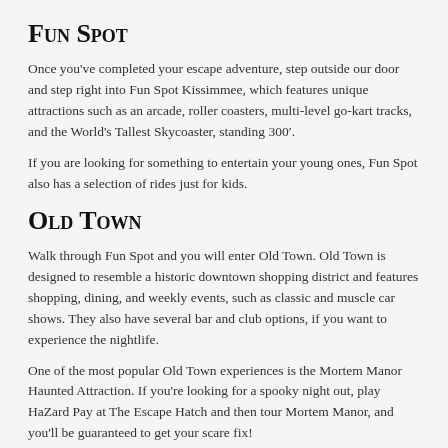Fun Spot
Once you've completed your escape adventure, step outside our door and step right into Fun Spot Kissimmee, which features unique attractions such as an arcade, roller coasters, multi-level go-kart tracks, and the World's Tallest Skycoaster, standing 300'.
If you are looking for something to entertain your young ones, Fun Spot also has a selection of rides just for kids.
Old Town
Walk through Fun Spot and you will enter Old Town. Old Town is designed to resemble a historic downtown shopping district and features shopping, dining, and weekly events, such as classic and muscle car shows. They also have several bar and club options, if you want to experience the nightlife.
One of the most popular Old Town experiences is the Mortem Manor Haunted Attraction. If you're looking for a spooky night out, play HaZard Pay at The Escape Hatch and then tour Mortem Manor, and you'll be guaranteed to get your scare fix!
More Escape Rooms